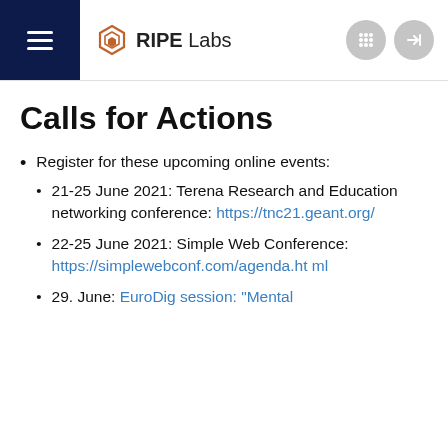RIPE Labs
Calls for Actions
Register for these upcoming online events:
21-25 June 2021: Terena Research and Education networking conference: https://tnc21.geant.org/
22-25 June 2021: Simple Web Conference: https://simplewebconf.com/agenda.html
29. June: EuroDig session: "Mental